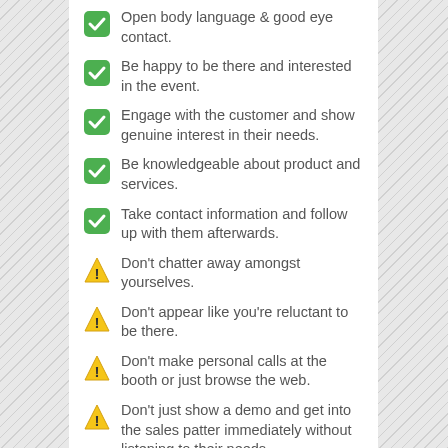Open body language & good eye contact.
Be happy to be there and interested in the event.
Engage with the customer and show genuine interest in their needs.
Be knowledgeable about product and services.
Take contact information and follow up with them afterwards.
Don't chatter away amongst yourselves.
Don't appear like you're reluctant to be there.
Don't make personal calls at the booth or just browse the web.
Don't just show a demo and get into the sales patter immediately without listening to their needs